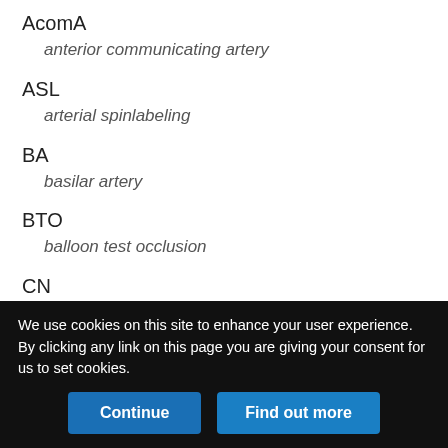AcomA
anterior communicating artery
ASL
arterial spinlabeling
BA
basilar artery
BTO
balloon test occlusion
CN
cranial nerve
MOTSA
We use cookies on this site to enhance your user experience. By clicking any link on this page you are giving your consent for us to set cookies.